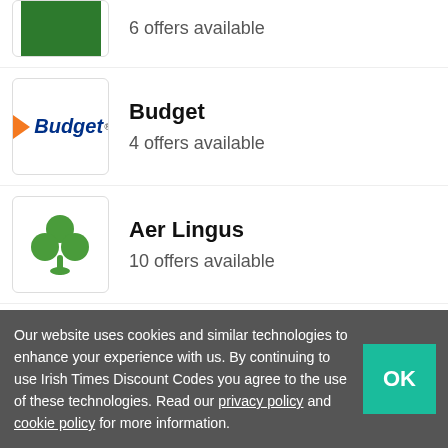6 offers available
Budget — 4 offers available
Aer Lingus — 10 offers available
Center Parcs — 9 offers available
Micks Garage — 38 offers available
Our website uses cookies and similar technologies to enhance your experience with us. By continuing to use Irish Times Discount Codes you agree to the use of these technologies. Read our privacy policy and cookie policy for more information.